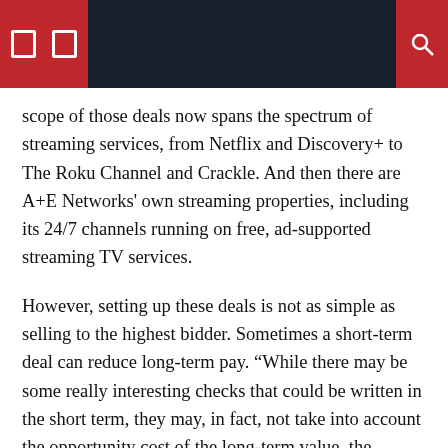scope of those deals now spans the spectrum of streaming services, from Netflix and Discovery+ to The Roku Channel and Crackle. And then there are A+E Networks' own streaming properties, including its 24/7 channels running on free, ad-supported streaming TV services.
However, setting up these deals is not as simple as selling to the highest bidder. Sometimes a short-term deal can reduce long-term pay. “While there may be some really interesting checks that could be written in the short term, they may, in fact, not take into account the opportunity cost of the long-term value, the lifetime value of that content. ”, said Garner.
The equation would likely only be more complicated if A+E Networks decided to roll out a standalone streaming service